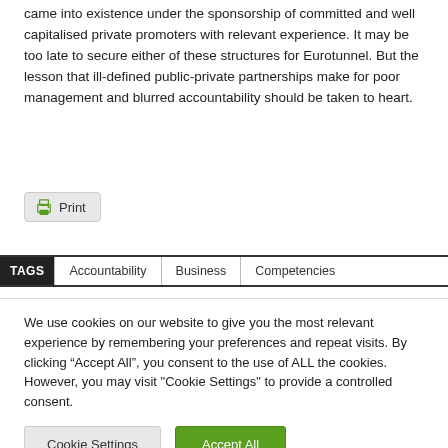came into existence under the sponsorship of committed and well capitalised private promoters with relevant experience. It may be too late to secure either of these structures for Eurotunnel. But the lesson that ill-defined public-private partnerships make for poor management and blurred accountability should be taken to heart.
[Figure (other): Print button with printer icon]
TAGS  Accountability  Business  Competencies
We use cookies on our website to give you the most relevant experience by remembering your preferences and repeat visits. By clicking "Accept All", you consent to the use of ALL the cookies. However, you may visit "Cookie Settings" to provide a controlled consent.
Cookie Settings
Accept All